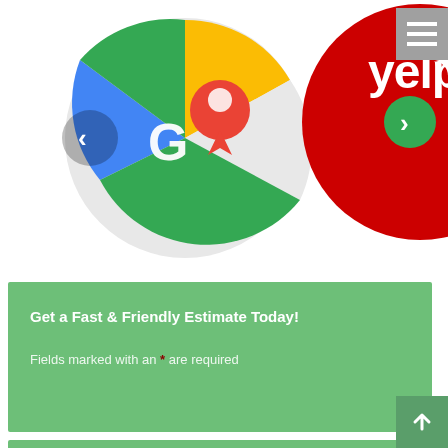[Figure (illustration): Google Maps logo circle with navigation pin and carousel left arrow, and Yelp logo red circle with white yelp text and carousel right arrow, top portion of page]
Get a Fast & Friendly Estimate Today!
Fields marked with an * are required
Our Shower, Mirror & Glass Specialties
Shower Enclosure/Bathtub Enclosure Services
Custom Glass Services & Products